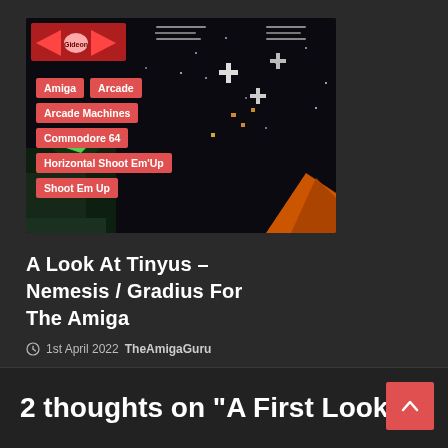[Figure (screenshot): Screenshot of a horizontal shoot em up game (Tinyus/Nemesis/Gradius style) with space background, showing game logo in top left and various enemy sprites. Tag labels overlaid: Amiga, Arcade, Arcade Machines, Commodore 64, Horizontal Shoot Em'Up, Shoot Em Up]
A Look At Tinyus – Nemesis / Gradius For The Amiga
1st April 2022  TheAmigaGuru
2 thoughts on “A First Look